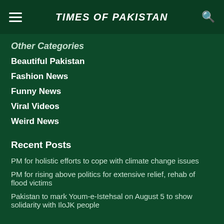TIMES OF PAKISTAN
Other Categories
Beautiful Pakistan
Fashion News
Funny News
Viral Videos
Weird News
Recent Posts
PM for holistic efforts to cope with climate change issues
PM for rising above politics for extensive relief, rehab of flood victims
Pakistan to mark Youm-e-Istehsal on August 5 to show solidarity with IloJK people